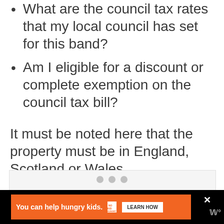What are the council tax rates that my local council has set for this band?
Am I eligible for a discount or complete exemption on the council tax bill?
It must be noted here that the property must be in England, Scotland or Wales.
[Figure (other): Gray advertisement placeholder box with slider dots below it]
You can help hungry kids. NO KID HUNGRY LEARN HOW